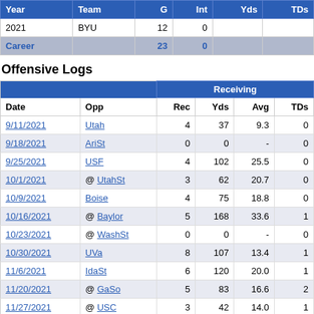| Year | Team | G | Int | Yds | TDs |
| --- | --- | --- | --- | --- | --- |
| 2021 | BYU | 12 | 0 |  |  |
| Career |  | 23 | 0 |  |  |
Offensive Logs
| Date | Opp | Rec | Yds | Avg | TDs |
| --- | --- | --- | --- | --- | --- |
| 9/11/2021 | Utah | 4 | 37 | 9.3 | 0 |
| 9/18/2021 | AriSt | 0 | 0 | - | 0 |
| 9/25/2021 | USF | 4 | 102 | 25.5 | 0 |
| 10/1/2021 | @ UtahSt | 3 | 62 | 20.7 | 0 |
| 10/9/2021 | Boise | 4 | 75 | 18.8 | 0 |
| 10/16/2021 | @ Baylor | 5 | 168 | 33.6 | 1 |
| 10/23/2021 | @ WashSt | 0 | 0 | - | 0 |
| 10/30/2021 | UVa | 8 | 107 | 13.4 | 1 |
| 11/6/2021 | IdaSt | 6 | 120 | 20.0 | 1 |
| 11/20/2021 | @ GaSo | 5 | 83 | 16.6 | 2 |
| 11/27/2021 | @ USC | 3 | 42 | 14.0 | 1 |
| 12/18/2021 | UAB | 1 | 9 | 9.0 | 0 |